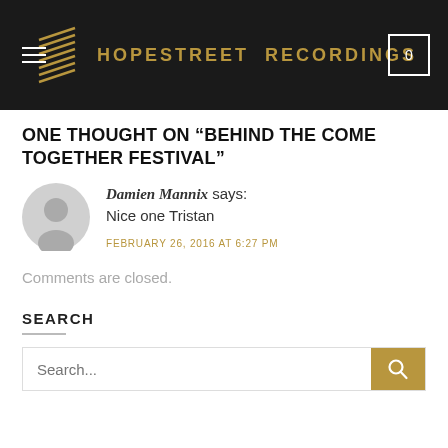HOPESTREET RECORDINGS
ONE THOUGHT ON “BEHIND THE COME TOGETHER FESTIVAL”
Damien Mannix says: Nice one Tristan
FEBRUARY 26, 2016 AT 6:27 PM
Comments are closed.
SEARCH